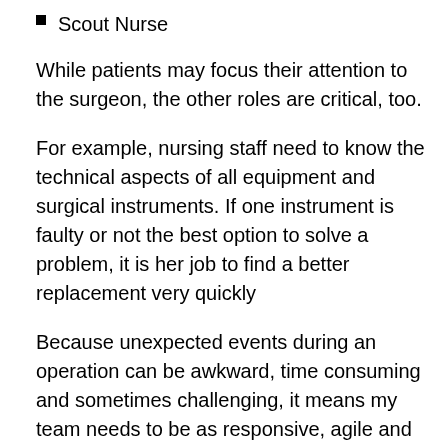Scout Nurse
While patients may focus their attention to the surgeon, the other roles are critical, too.
For example, nursing staff need to know the technical aspects of all equipment and surgical instruments. If one instrument is faulty or not the best option to solve a problem, it is her job to find a better replacement very quickly
Because unexpected events during an operation can be awkward, time consuming and sometimes challenging, it means my team needs to be as responsive, agile and as confident in one another as possible.
For example, our team recently had to adjust our approach to a surgical procedure that was originally